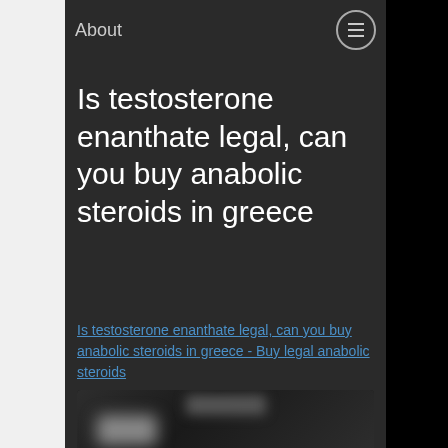About
Is testosterone enanthate legal, can you buy anabolic steroids in greece
Is testosterone enanthate legal, can you buy anabolic steroids in greece - Buy legal anabolic steroids
[Figure (photo): Blurred dark image of a person or product related to anabolic steroids]